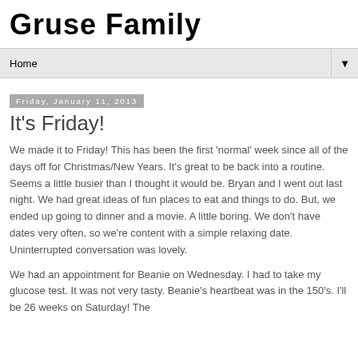Gruse Family
Home
Friday, January 11, 2013
It's Friday!
We made it to Friday! This has been the first 'normal' week since all of the days off for Christmas/New Years. It's great to be back into a routine. Seems a little busier than I thought it would be. Bryan and I went out last night. We had great ideas of fun places to eat and things to do. But, we ended up going to dinner and a movie. A little boring. We don't have dates very often, so we're content with a simple relaxing date. Uninterrupted conversation was lovely.
We had an appointment for Beanie on Wednesday. I had to take my glucose test. It was not very tasty. Beanie's heartbeat was in the 150's. I'll be 26 weeks on Saturday! The